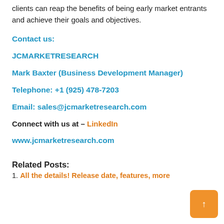clients can reap the benefits of being early market entrants and achieve their goals and objectives.
Contact us:
JCMARKETRESEARCH
Mark Baxter (Business Development Manager)
Telephone: +1 (925) 478-7203
Email: sales@jcmarketresearch.com
Connect with us at – LinkedIn
www.jcmarketresearch.com
Related Posts:
1. All the details! Release date, features, more